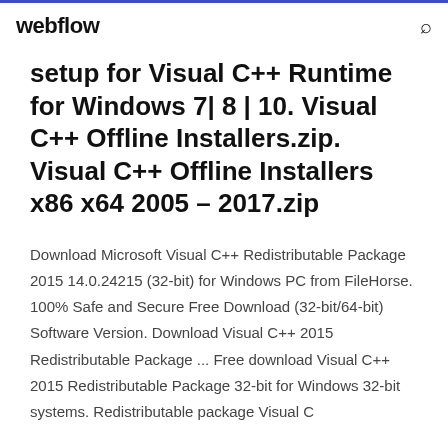webflow
setup for Visual C++ Runtime for Windows 7| 8 | 10. Visual C++ Offline Installers.zip. Visual C++ Offline Installers x86 x64 2005 – 2017.zip
Download Microsoft Visual C++ Redistributable Package 2015 14.0.24215 (32-bit) for Windows PC from FileHorse. 100% Safe and Secure Free Download (32-bit/64-bit) Software Version. Download Visual C++ 2015 Redistributable Package ... Free download Visual C++ 2015 Redistributable Package 32-bit for Windows 32-bit systems. Redistributable package Visual C